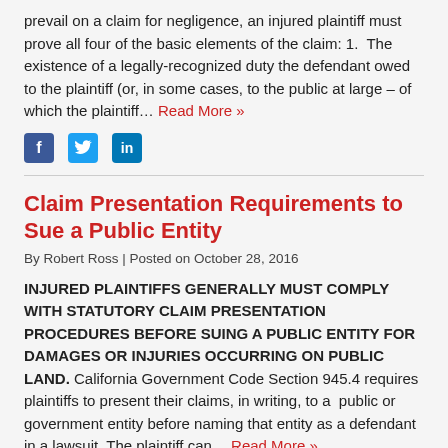prevail on a claim for negligence, an injured plaintiff must prove all four of the basic elements of the claim: 1. The existence of a legally-recognized duty the defendant owed to the plaintiff (or, in some cases, to the public at large – of which the plaintiff… Read More »
[Figure (other): Social media sharing icons: Facebook (blue square), Twitter (cyan square), LinkedIn (blue square)]
Claim Presentation Requirements to Sue a Public Entity
By Robert Ross | Posted on October 28, 2016
INJURED PLAINTIFFS GENERALLY MUST COMPLY WITH STATUTORY CLAIM PRESENTATION PROCEDURES BEFORE SUING A PUBLIC ENTITY FOR DAMAGES OR INJURIES OCCURRING ON PUBLIC LAND. California Government Code Section 945.4 requires plaintiffs to present their claims, in writing, to a public or government entity before naming that entity as a defendant in a lawsuit. The plaintiff can… Read More »